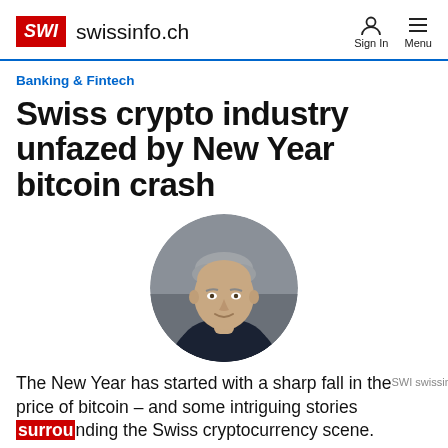SWI swissinfo.ch | Sign In | Menu
Banking & Fintech
Swiss crypto industry unfazed by New Year bitcoin crash
[Figure (photo): Circular portrait photo of a middle-aged man with grey hair wearing a dark jacket, against a grey background.]
The New Year has started with a sharp fall in the price of bitcoin – and some intriguing stories surrounding the Swiss cryptocurrency scene.